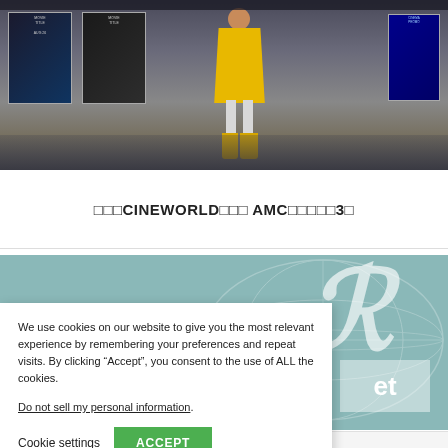[Figure (photo): Photo of a person in a yellow raincoat and yellow boots walking in front of a cinema (Cineworld) with movie posters visible, on a wet street.]
シネCINEWORLD売り AMCに買収3億
[Figure (screenshot): Screenshot of a webpage with teal/blue-green background showing a map watermark and stylized lettering including 'et', partially obscured by a cookie consent dialog.]
We use cookies on our website to give you the most relevant experience by remembering your preferences and repeat visits. By clicking "Accept", you consent to the use of ALL the cookies.
Do not sell my personal information.
Cookie settings   ACCEPT